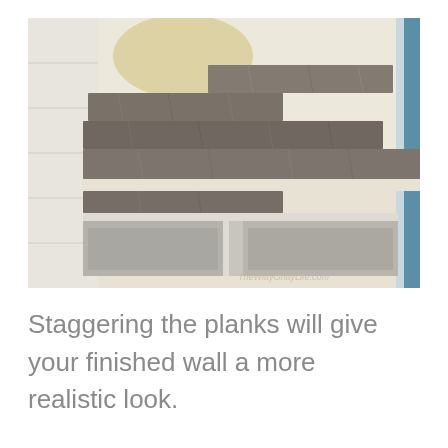[Figure (photo): A photo showing staggered vinyl plank flooring being installed on a wall. Multiple gray wood-look planks are arranged in a staggered brick-like pattern against a white/cream wall. The lower portion shows a shelf or ledge area. The upper right corner shows a blue door frame edge. A watermark reads TheWittyGrittyLife.com in the bottom right corner of the photo.]
Staggering the planks will give your finished wall a more realistic look.